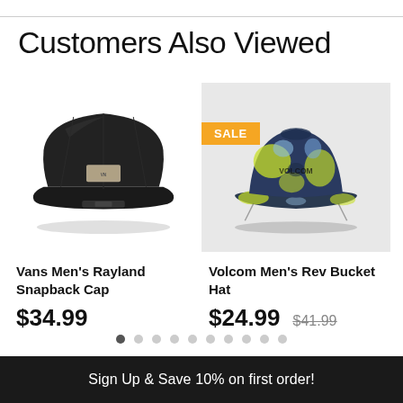Customers Also Viewed
[Figure (photo): Black Vans Men's Rayland Snapback Cap with small rectangular logo patch on front]
Vans Men's Rayland Snapback Cap
$34.99
[Figure (photo): Volcom Men's Rev Bucket Hat in tie-dye blue and yellow pattern, with SALE badge]
Volcom Men's Rev Bucket Hat
$24.99 $41.99
Sign Up & Save 10% on first order!